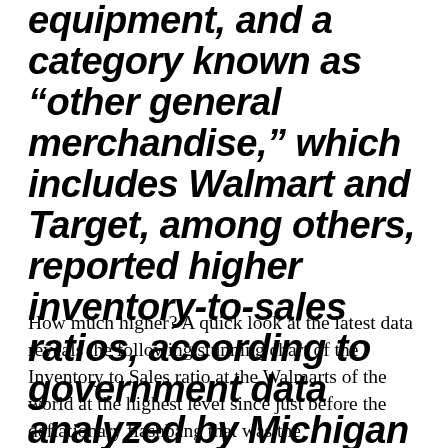equipment, and a category known as "other general merchandise," which includes Walmart and Target, among others, reported higher inventory-to-sales ratios, according to government data analyzed by Michigan State."
How much higher? A quick look at the latest data reveals the following stunning chart of the Inventory to Sales ratio at the Walmarts of the world at the highest level since just before the deflationary flashbang that was the